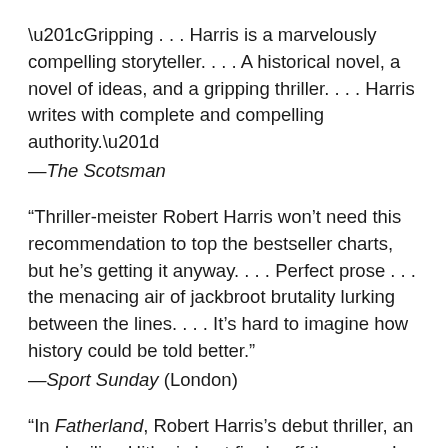“Gripping . . . Harris is a marvelously compelling storyteller. . . . A historical novel, a novel of ideas, and a gripping thriller. . . . Harris writes with complete and compelling authority.” —The Scotsman
“Thriller-meister Robert Harris won’t need this recommendation to top the bestseller charts, but he’s getting it anyway. . . . Perfect prose . . . the menacing air of jackbroot brutality lurking between the lines. . . . It’s hard to imagine how history could be told better.” —Sport Sunday (London)
“In Fatherland, Robert Harris’s debut thriller, an aged, ailing Hitler is kept firmly off the page. In Munich, he walks, he talks, he rants. . . . A vivid recreation . . . Harris brings the history alive. He